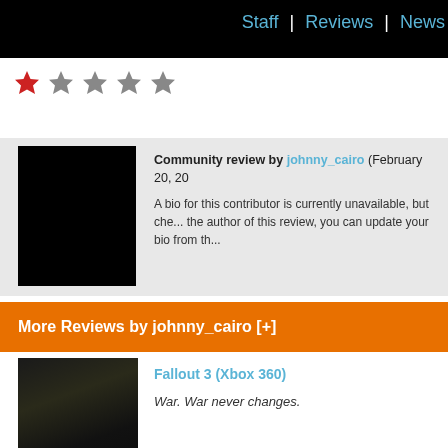Staff | Reviews | News
[Figure (other): Star rating: 1 out of 5 stars (one red filled star, four grey empty stars)]
Community review by johnny_cairo (February 20, 20...) A bio for this contributor is currently unavailable, but che... the author of this review, you can update your bio from th...
More Reviews by johnny_cairo [+]
Fallout 3 (Xbox 360)
War. War never changes.
Metal Gear Solid 2: Sons of Liberty (PlayStation 2)
The agonizing ride on the blue-ball express known as M... despair-inducing journey of Metal Gear Solid 2. To be f...